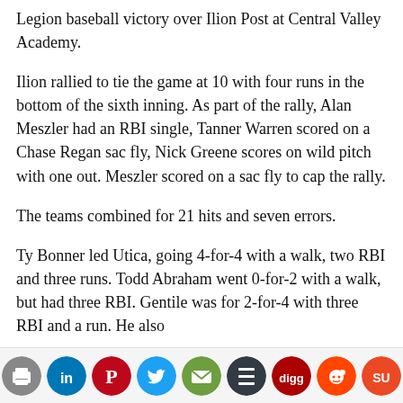Legion baseball victory over Ilion Post at Central Valley Academy.
Ilion rallied to tie the game at 10 with four runs in the bottom of the sixth inning. As part of the rally, Alan Meszler had an RBI single, Tanner Warren scored on a Chase Regan sac fly, Nick Greene scores on wild pitch with one out. Meszler scored on a sac fly to cap the rally.
The teams combined for 21 hits and seven errors.
Ty Bonner led Utica, going 4-for-4 with a walk, two RBI and three runs. Todd Abraham went 0-for-2 with a walk, but had three RBI. Gentile was for 2-for-4 with three RBI and a run. He also
[Figure (infographic): Social sharing icons bar with Facebook, Print, LinkedIn, Pinterest, Twitter, Email, Buffer, Digg, Reddit, StumbleUpon, and Yummly icons]